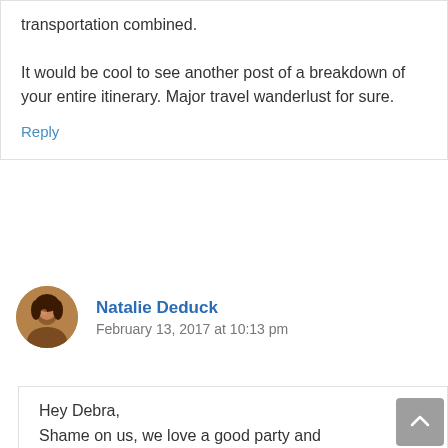transportation combined.
It would be cool to see another post of a breakdown of your entire itinerary. Major travel wanderlust for sure.
Reply
Natalie Deduck
February 13, 2017 at 10:13 pm
Hey Debra,
Shame on us, we love a good party and drinks with friends! lolololol
And we saved a lot on accommodation